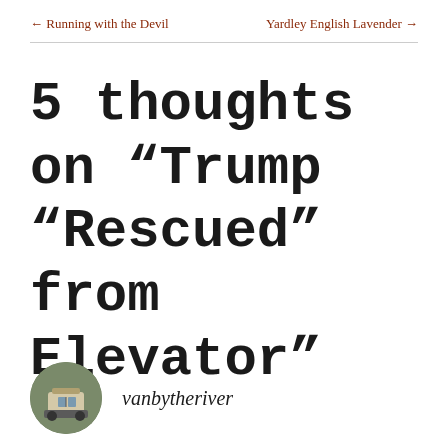← Running with the Devil      Yardley English Lavender →
5 thoughts on “Trump “Rescued” from Elevator”
vanbytheriver